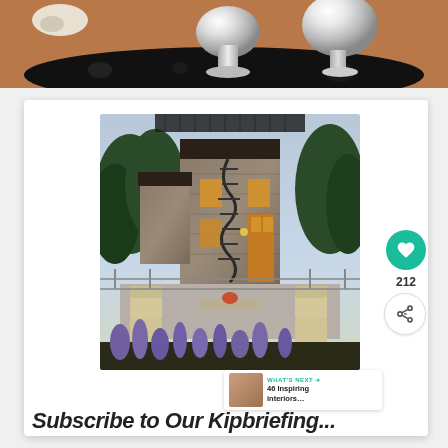[Figure (photo): Top photo showing chrome/silver decorative items (juicer and bar stools) on a dark lace mat over a terracotta/brown floor]
[Figure (photo): Photo of a multi-story stone house exterior with a spiral staircase, deck with outdoor furniture (lounge chairs and coffee table), surrounded by trees at dusk/evening. Purple flowering plants in foreground.]
212
WHAT'S NEXT → 46 Inspiring interiors...
Subscribe to Our Kipbriefing...